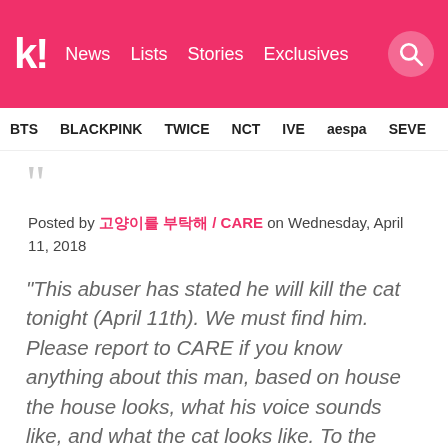k! News Lists Stories Exclusives
BTS BLACKPINK TWICE NCT IVE aespa SEVE
Posted by 고양이를 부탁해 / CARE on Wednesday, April 11, 2018
“This abuser has stated he will kill the cat tonight (April 11th). We must find him. Please report to CARE if you know anything about this man, based on house the house looks, what his voice sounds like, and what the cat looks like. To the person who finds this man, CARE will pay a cash reward of $3,000. The cat seems unable to stand up with paralysis. We must find